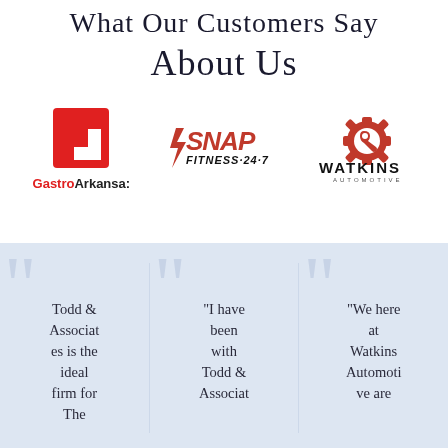What Our Customers Say About Us
[Figure (logo): GastroArkansas logo - red G square bracket shape with 'GastroArkansas' text below]
[Figure (logo): Snap Fitness 24-7 logo in red and black italic text]
[Figure (logo): Watkins Automotive logo - red gear with wrench, bold black WATKINS AUTOMOTIVE text]
Todd & Associates is the ideal firm for
"I have been with Todd & Associat
"We here at Watkins Automoti ve are